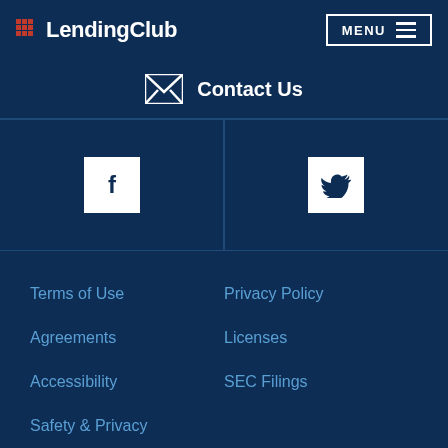[Figure (logo): LendingClub logo with red grid icon and white text]
[Figure (other): MENU button with hamburger icon]
Contact Us
[Figure (other): Facebook icon (white F on white square)]
[Figure (other): Twitter bird icon on white square]
Terms of Use
Privacy Policy
Agreements
Licenses
Accessibility
SEC Filings
Safety & Privacy